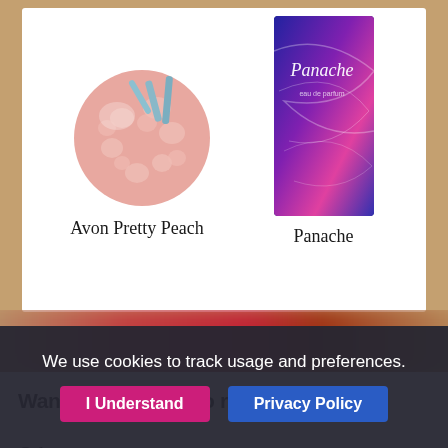[Figure (illustration): Avon Pretty Peach product image — a pink spherical bath/beauty product with small blue tubes/prongs sticking out]
Avon Pretty Peach
[Figure (illustration): Panache perfume/fragrance bottle with dark blue and purple swirl design on the packaging]
Panache
Want more things to remember?
Other pages
About
Terms & Conditions
Advertising and Media
Privacy
Contact us
Newest Memories
Don Johnson
The Rainmaker
We use cookies to track usage and preferences.
I Understand
Privacy Policy